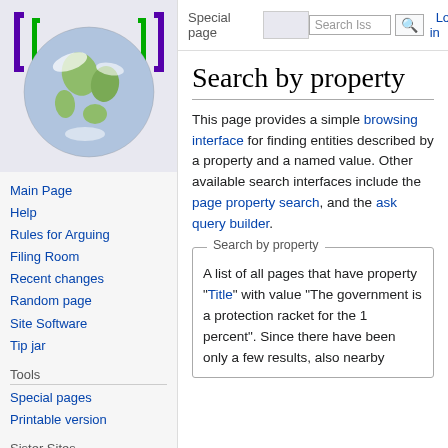[Figure (illustration): Wikipedia-style logo: Earth globe inside double square brackets in green/purple on a light background]
Main Page
Help
Rules for Arguing
Filing Room
Recent changes
Random page
Site Software
Tip jar
Tools
Special pages
Printable version
Sister Sites
Special page
Log in
Search by property
This page provides a simple browsing interface for finding entities described by a property and a named value. Other available search interfaces include the page property search, and the ask query builder.
Search by property
A list of all pages that have property "Title" with value "The government is a protection racket for the 1 percent". Since there have been only a few results, also nearby